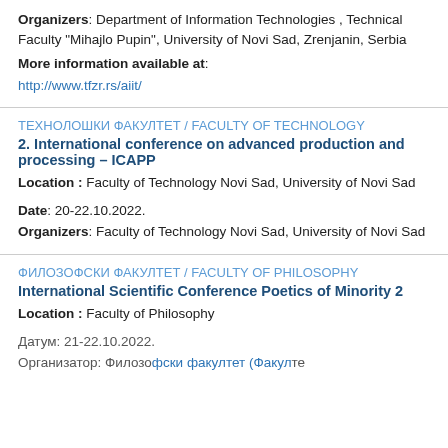Organizers: Department of Information Technologies , Technical Faculty "Mihajlo Pupin", University of Novi Sad, Zrenjanin, Serbia
More information available at: http://www.tfzr.rs/aiit/
ТЕХНОЛОШКИ ФАКУЛТЕТ / FACULTY OF TECHNOLOGY
2. International conference on advanced production and processing – ICAPP
Location : Faculty of Technology Novi Sad, University of Novi Sad
Date: 20-22.10.2022.
Organizers: Faculty of Technology Novi Sad, University of Novi Sad
ФИЛОЗОФСКИ ФАКУЛТЕТ / FACULTY OF PHILOSOPHY
International Scientific Conference Poetics of Minority 2
Location : Faculty of Philosophy
Датум: 21-22.10.2022.
Организатор: Филозофски факултет (Faculty of...